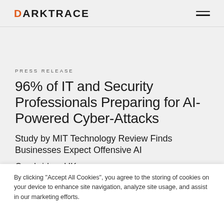DARKTRACE
PRESS RELEASE
96% of IT and Security Professionals Preparing for AI-Powered Cyber-Attacks
Study by MIT Technology Review Finds Businesses Expect Offensive AI
Cambridge, UK
By clicking "Accept All Cookies", you agree to the storing of cookies on your device to enhance site navigation, analyze site usage, and assist in our marketing efforts.